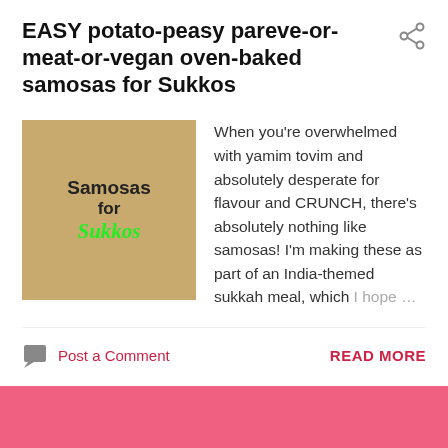EASY potato-peasy pareve-or-meat-or-vegan oven-baked samosas for Sukkos
[Figure (photo): Thumbnail image of samosas with text overlay reading 'Samosas for Sukkos' with green decorative font for 'Sukkos']
When you're overwhelmed with yamim tovim and absolutely desperate for flavour and CRUNCH, there's absolutely nothing like samosas!  I'm making these as part of an India-themed sukkah meal, which I hope …
Post a Comment
READ MORE